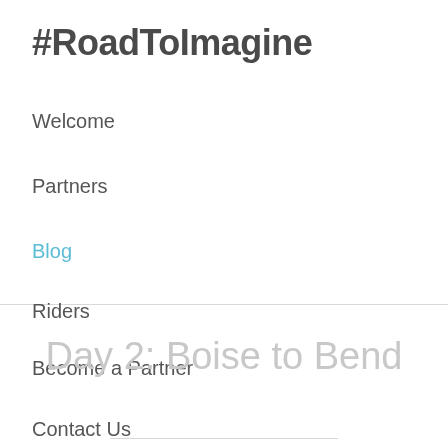#RoadToImagine
Welcome
Partners
Blog
Riders
Become a Partner
Contact Us
Day 2: Boise to Bend